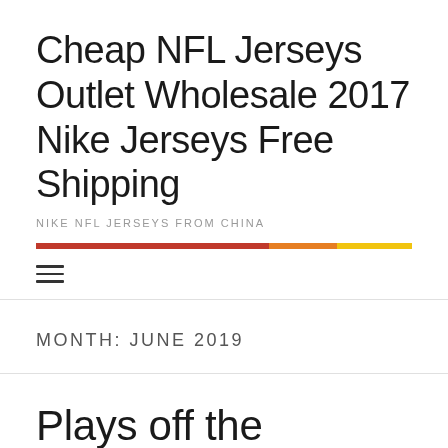Cheap NFL Jerseys Outlet Wholesale 2017 Nike Jerseys Free Shipping
NIKE NFL JERSEYS FROM CHINA
MONTH: JUNE 2019
Plays off the columbus